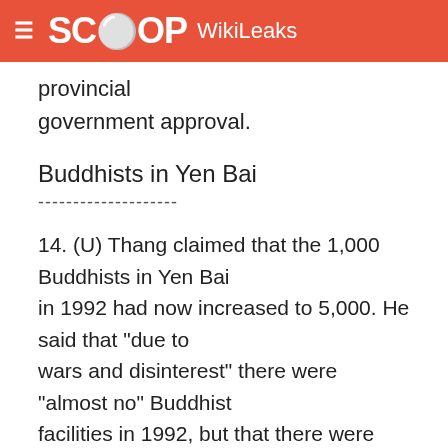SCOOP WikiLeaks
provincial
government approval.
Buddhists in Yen Bai
--------------------
14. (U) Thang claimed that the 1,000 Buddhists in Yen Bai in 1992 had now increased to 5,000. He said that "due to wars and disinterest" there were "almost no" Buddhist facilities in 1992, but that there were now nine. He added that the provincial administration had approved the